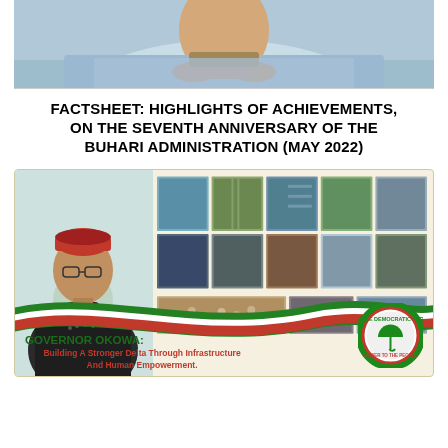[Figure (photo): Top portion of a man in traditional Nigerian attire (blue/white fabric) seated at a desk with hands clasped, cropped at chest/shoulder level]
FACTSHEET: HIGHLIGHTS OF ACHIEVEMENTS, ON THE SEVENTH ANNIVERSARY OF THE BUHARI ADMINISTRATION (MAY 2022)
[Figure (infographic): Banner card with light beige background showing Governor Okowa in traditional red cap and dark Senator attire on the left, a grid of infrastructure/project photos on the right, a green-white-red ribbon wave design, PDP party logo (umbrella emblem), and text 'GOVERNOR OKOWA: Building A Stronger Delta Through Infrastructure And Human Empowerment.']